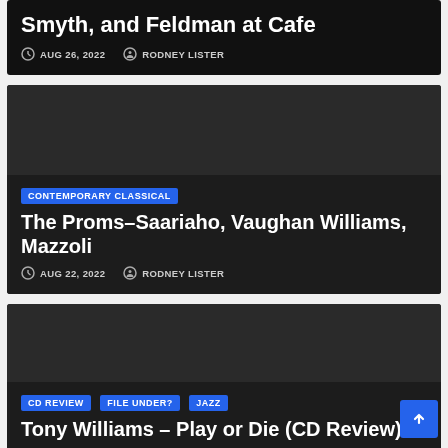Smyth, and Feldman at Cafe
AUG 26, 2022  RODNEY LISTER
CONTEMPORARY CLASSICAL
The Proms–Saariaho, Vaughan Williams, Mazzoli
AUG 22, 2022  RODNEY LISTER
CD REVIEW  FILE UNDER?  JAZZ
Tony Williams – Play or Die (CD Review)